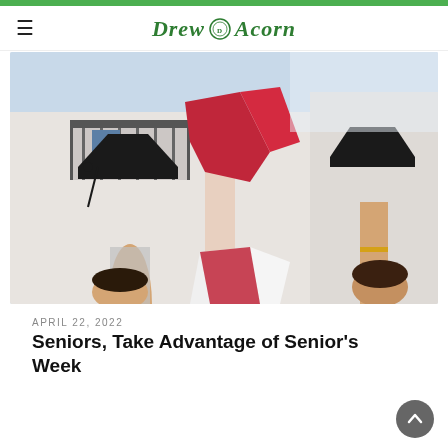Drew Acorn
[Figure (photo): Several students raising graduation caps and red fabric in the air outdoors in front of a white building with a balcony.]
APRIL 22, 2022
Seniors, Take Advantage of Senior's Week